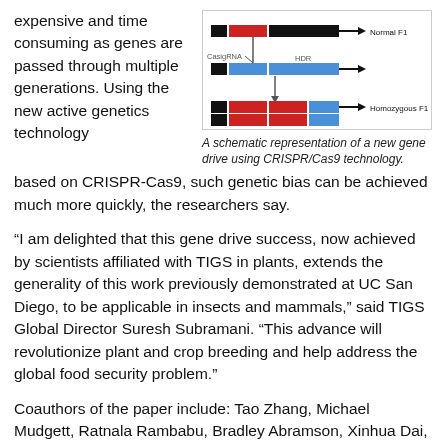expensive and time consuming as genes are passed through multiple generations. Using the new active genetics technology based on CRISPR-Cas9, such genetic bias can be achieved much more quickly, the researchers say.
[Figure (schematic): A schematic diagram showing a gene drive using CRISPR/Cas9 technology with colored blocks representing Normal F1 and Homozygous F1 gene arrangements, with CasigRNA and HDR labels.]
A schematic representation of a new gene drive using CRISPR/Cas9 technology.
“I am delighted that this gene drive success, now achieved by scientists affiliated with TIGS in plants, extends the generality of this work previously demonstrated at UC San Diego, to be applicable in insects and mammals,” said TIGS Global Director Suresh Subramani. “This advance will revolutionize plant and crop breeding and help address the global food security problem.”
Coauthors of the paper include: Tao Zhang, Michael Mudgett, Ratnala Rambabu, Bradley Abramson, Xinhua Dai, Todd Michael and Yunde Zhao.